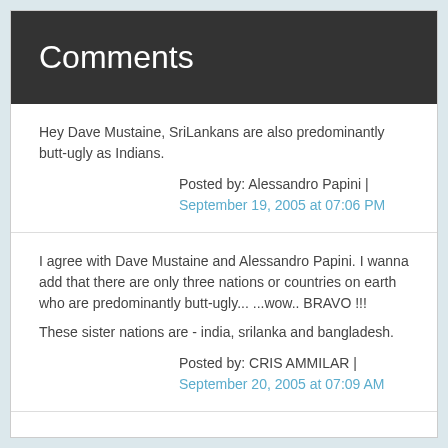Comments
Hey Dave Mustaine, SriLankans are also predominantly butt-ugly as Indians.
Posted by: Alessandro Papini | September 19, 2005 at 07:06 PM
I agree with Dave Mustaine and Alessandro Papini. I wanna add that there are only three nations or countries on earth who are predominantly butt-ugly... ...wow.. BRAVO !!!

These sister nations are - india, srilanka and bangladesh.
Posted by: CRIS AMMILAR | September 20, 2005 at 07:09 AM